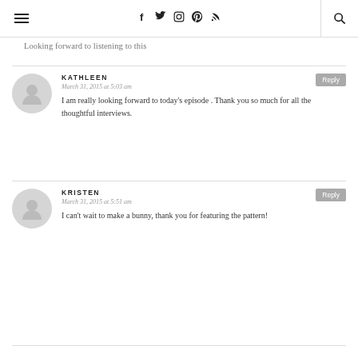Navigation header with hamburger menu, social icons (Facebook, Twitter, Instagram, Pinterest, RSS), and search
Looking forward to listening to this
KATHLEEN
March 31, 2015 at 5:03 am
I am really looking forward to today's episode . Thank you so much for all the thoughtful interviews.
KRISTEN
March 31, 2015 at 5:51 am
I can't wait to make a bunny, thank you for featuring the pattern!